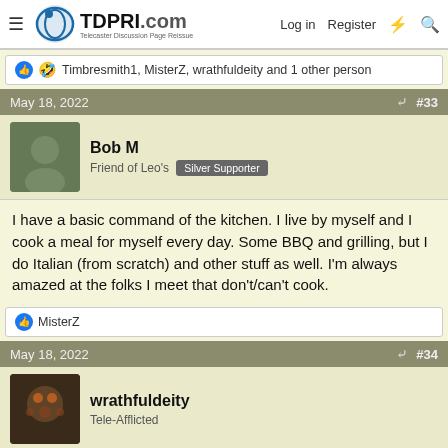TDPRI.com — Telecaster Discussion Page Reissue — Log in  Register
👍 🤣 Timbresmith1, MisterZ, wrathfuldeity and 1 other person
May 18, 2022  #33
Bob M
Friend of Leo's  Silver Supporter
I have a basic command of the kitchen. I live by myself and I cook a meal for myself every day. Some BBQ and grilling, but I do Italian (from scratch) and other stuff as well. I'm always amazed at the folks I meet that don't/can't cook.
👍 MisterZ
May 18, 2022  #34
wrathfuldeity
Tele-Afflicted